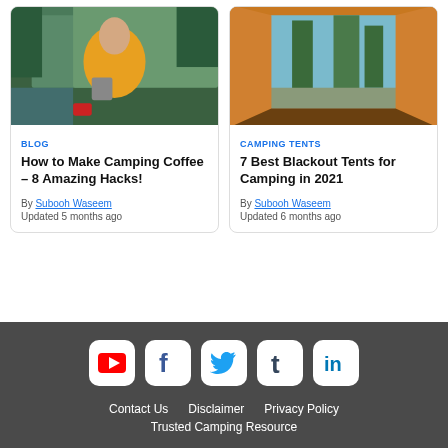[Figure (photo): Person in yellow jacket making camping coffee by a lake with a camping stove]
[Figure (photo): View from inside an orange camping tent looking out at trees]
BLOG
How to Make Camping Coffee – 8 Amazing Hacks!
By Subooh Waseem
Updated 5 months ago
CAMPING TENTS
7 Best Blackout Tents for Camping in 2021
By Subooh Waseem
Updated 6 months ago
[Figure (logo): YouTube icon]
[Figure (logo): Facebook icon]
[Figure (logo): Twitter icon]
[Figure (logo): Tumblr icon]
[Figure (logo): LinkedIn icon]
Contact Us   Disclaimer   Privacy Policy
Trusted Camping Resource